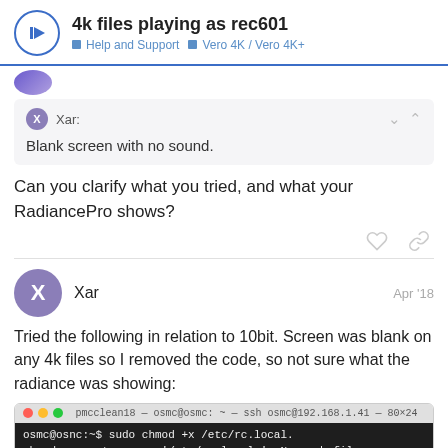4k files playing as rec601 — Help and Support — Vero 4K / Vero 4K+
Xar: Blank screen with no sound.
Can you clarify what you tried, and what your RadiancePro shows?
Xar  Apr '18
Tried the following in relation to 10bit. Screen was blank on any 4k files so I removed the code, so not sure what the radiance was showing:
[Figure (screenshot): Terminal window showing: pmcclean18 — osmc@osmc: ~ — ssh osmc@192.168.1.41 — 80×24. Commands: osmc@osnc:~$ sudo chmod +x /etc/rc.local. chmod: cannot access '/etc/rc.local.': No such file or directory]